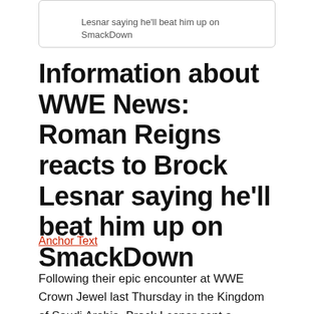Lesnar saying he'll beat him up on SmackDown
Information about WWE News: Roman Reigns reacts to Brock Lesnar saying he'll beat him up on SmackDown
Anchor Text
Following their epic encounter at WWE Crown Jewel last Thursday in the Kingdom of Saudi Arabia, Brock Lesnar sent a message to